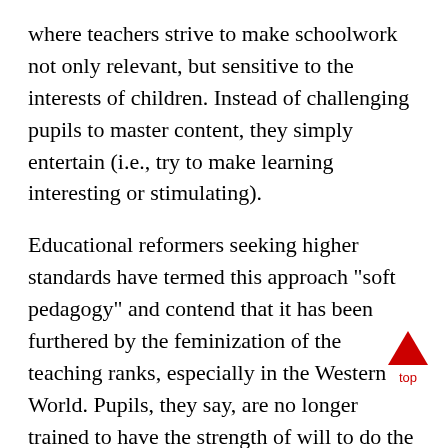where teachers strive to make schoolwork not only relevant, but sensitive to the interests of children. Instead of challenging pupils to master content, they simply entertain (i.e., try to make learning interesting or stimulating).
Educational reformers seeking higher standards have termed this approach "soft pedagogy" and contend that it has been furthered by the feminization of the teaching ranks, especially in the Western World. Pupils, they say, are no longer trained to have the strength of will to do the hard and uninteresting work of life. They are left by the school weak and flabby, demanding continual entertainment and capable of doing only that which appeals to their inclinations.
In Canada, the best examples can be found in High